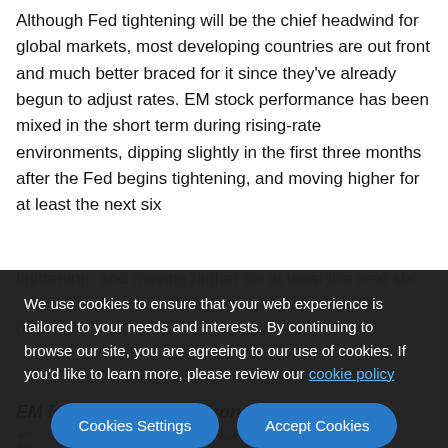Although Fed tightening will be the chief headwind for global markets, most developing countries are out front and much better braced for it since they've already begun to adjust rates. EM stock performance has been mixed in the short term during rising-rate environments, dipping slightly in the first three months after the Fed begins tightening, and moving higher for at least the next six
(Disclos...
We use cookies to ensure that your web experience is tailored to your needs and interests. By continuing to browse our site, you are agreeing to our use of cookies. If you'd like to learn more, please review our cookie policy
EM in Rising-Rate Environments
[Figure (bar-chart): Partial bar chart visible at bottom of page showing EM in Rising-Rate Environments data, with y-axis labels 440 and 440 visible]